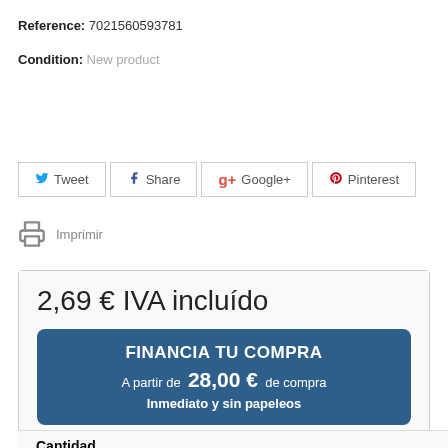Reference: 7021560593781
Condition: New product
Tweet  Share  Google+  Pinterest
Imprimir
2,69 € IVA incluído
FINANCIA TU COMPRA
A partir de 28,00 € de compra
Inmediato y sin papeleos
Cantidad